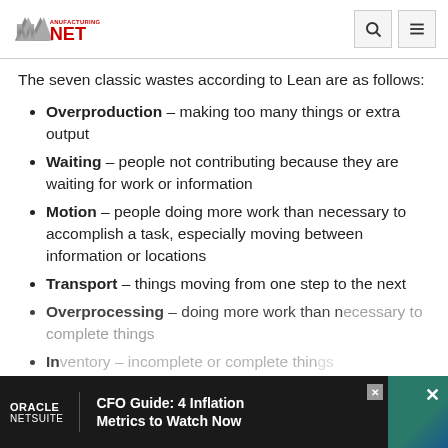Manufacturing.net
The seven classic wastes according to Lean are as follows:
Overproduction – making too many things or extra output
Waiting – people not contributing because they are waiting for work or information
Motion – people doing more work than necessary to accomplish a task, especially moving between information or locations
Transport – things moving from one step to the next
Overprocessing – doing more work than necessary to complete things
Inventory – incomplete or complete things
[Figure (other): Oracle NetSuite advertisement banner: 'CFO Guide: 4 Inflation Metrics to Watch Now']